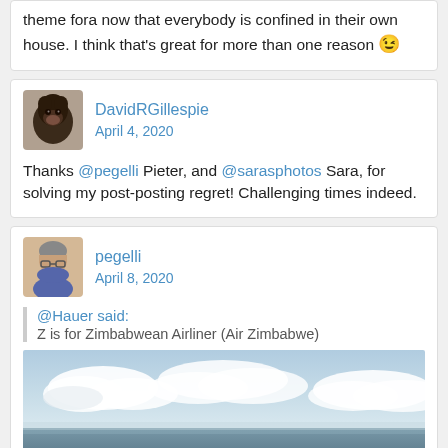theme fora now that everybody is confined in their own house. I think that's great for more than one reason 😉
DavidRGillespie
April 4, 2020
Thanks @pegelli Pieter, and @sarasphotos Sara, for solving my post-posting regret! Challenging times indeed.
pegelli
April 8, 2020
@Hauer said:
Z is for Zimbabwean Airliner (Air Zimbabwe)
[Figure (photo): Sky and ocean scene showing clouds over water, likely from an airplane window or low altitude]